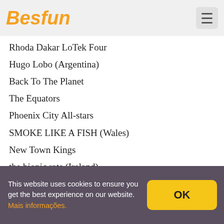Besfun
Rhoda Dakar LoTek Four
Hugo Lobo (Argentina)
Back To The Planet
The Equators
Phoenix City All-stars
SMOKE LIKE A FISH (Wales)
New Town Kings
the bionic rats (Ireland)
The Mighty Cosmics
Aggressors B.C (Northern Ireland)
65 Mines Street (France)
LEO & THE LINEUP (Denmark)
The Mr.Bassie band
This website uses cookies to ensure you get the best experience on our website. Mais informações.